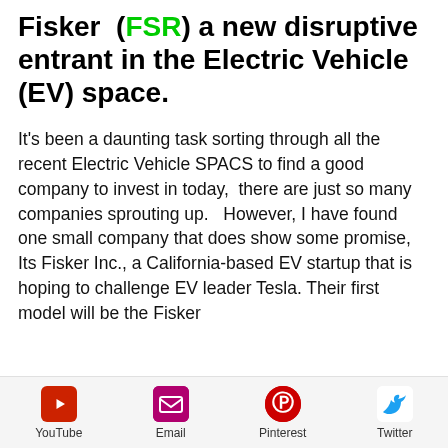Fisker (FSR) a new disruptive entrant in the Electric Vehicle (EV) space.
It's been a daunting task sorting through all the recent Electric Vehicle SPACS to find a good company to invest in today,  there are just so many companies sprouting up.   However, I have found one small company that does show some promise, Its Fisker Inc., a California-based EV startup that is hoping to challenge EV leader Tesla. Their first model will be the Fisker
[Figure (infographic): Social share bar with YouTube, Email, Pinterest, and Twitter icons]